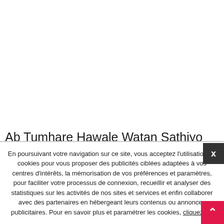Ab Tumhare Hawale Watan Sathiyo Full Movies 720p Torrent … free download naruto … Sanam Teri Kasam (2016) Full Movie Watch Online …. HD MP3 download.. Ab Hoga Dharna
En poursuivant votre navigation sur ce site, vous acceptez l'utilisation de cookies pour vous proposer des publicités ciblées adaptées à vos centres d'intérêts, la mémorisation de vos préférences et paramètres, pour faciliter votre processus de connexion, recueillir et analyser des statistiques sur les activités de nos sites et services et enfin collaborer avec des partenaires en hébergeant leurs contenus ou annonces publicitaires. Pour en savoir plus et paramétrer les cookies, cliquez ici.